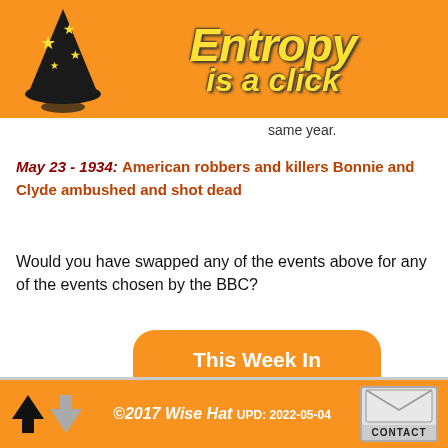[Figure (logo): Entropy is a click website header with orange background, cartoon wizard hat logo, and stylized yellow italic text 'Entropy is a click']
same year.
May 23 - 1934: American robbers and killers Bonnie and Clyde ambushed and shot dead
Would you have swapped any of the events above for any of the events chosen by the BBC?
[Figure (other): Orange rounded rectangle button with white bold text: 'This Week In History HD Video 41.95 MB']
© 2017 Wise Hat  UPD: 2022-05-04  CONTACT